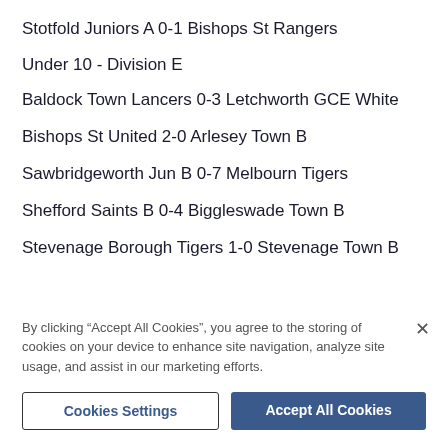Stotfold Juniors A 0-1 Bishops St Rangers
Under 10 - Division E
Baldock Town Lancers 0-3 Letchworth GCE White
Bishops St United 2-0 Arlesey Town B
Sawbridgeworth Jun B 0-7 Melbourn Tigers
Shefford Saints B 0-4 Biggleswade Town B
Stevenage Borough Tigers 1-0 Stevenage Town B
By clicking “Accept All Cookies”, you agree to the storing of cookies on your device to enhance site navigation, analyze site usage, and assist in our marketing efforts.
Cookies Settings
Accept All Cookies